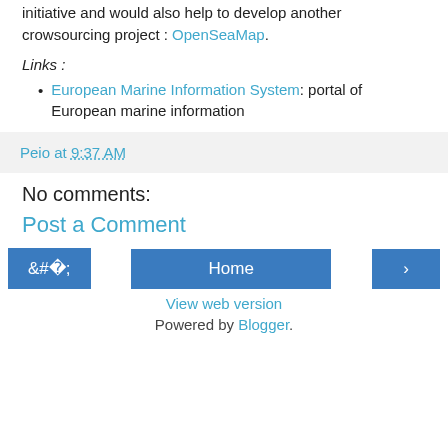Open Database License (ODbL) would be an excellent initiative and would also help to develop another crowsourcing project : OpenSeaMap.
Links :
European Marine Information System: portal of European marine information
Peio at 9:37 AM
No comments:
Post a Comment
< Home >
View web version
Powered by Blogger.